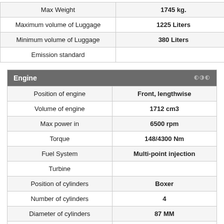| Specification | Value |
| --- | --- |
| Max Weight | 1745 kg. |
| Maximum volume of Luggage | 1225 Liters |
| Minimum volume of Luggage | 380 Liters |
| Emission standard |  |
| Engine |  |
| --- | --- |
| Position of engine | Front, lengthwise |
| Volume of engine | 1712 cm3 |
| Max power in | 6500 rpm |
| Torque | 148/4300 Nm |
| Fuel System | Multi-point injection |
| Turbine |  |
| Position of cylinders | Boxer |
| Number of cylinders | 4 |
| Diameter of cylinders | 87 MM |
| Stroke in the cylinder | 72 MM |
| Compression ratio | 10 |
| Number of valves per cylinder | 4 |
| Fuel Type | Petrol (Gasoline) A-95 |